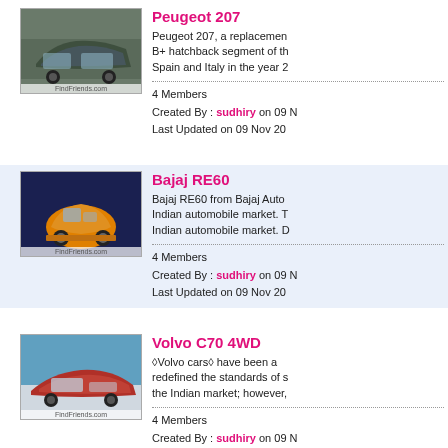[Figure (photo): Peugeot 207 car image]
Peugeot 207
Peugeot 207, a replacement B+ hatchback segment of th Spain and Italy in the year 2
4 Members
Created By : sudhiry on 09 N
Last Updated on 09 Nov 20
[Figure (photo): Bajaj RE60 car image]
Bajaj RE60
Bajaj RE60 from Bajaj Auto Indian automobile market. T Indian automobile market. D
4 Members
Created By : sudhiry on 09 N
Last Updated on 09 Nov 20
[Figure (photo): Volvo C70 4WD car image]
Volvo C70 4WD
Volvo cars have been a redefined the standards of s the Indian market; however,
4 Members
Created By : sudhiry on 09 N
Last Updated on 09 Nov 20